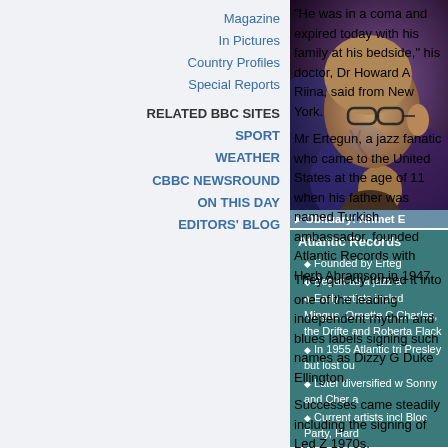Magazine
In Pictures
Country Profiles
Special Reports
RELATED BBC SITES
SPORT
WEATHER
CBBC NEWSROUND
ON THIS DAY
EDITORS' BLOG
"He was in a coma and expired today with his family at his bedside," his doctor, Dr Howard A Riina, said from New York.
Mr Ertegun, a jazz fanatic who came to the United States at the age of 11 when his father was named Turkish ambassador, founded Atlantic Records with Herb Abramson in 1947.
[Figure (photo): Elderly man with glasses lit with purple/blue light from below, side profile]
Obituary: Ahmet E
They quickly turned it into one of the leading independent rhythm and blues labels signing such names as Dizzy G Duke Ellington.
Successes came steadily including the signing of Led Z 1970s.
The label is now part of the Warner Music Group, and includes acts such as Kid Rock, James Blunt and Missy Elliott.
The founder of Rolling Stone magazine, Jann Wenner, paid tribute to Ertegun's ability to act as a mentor to many in the music business.
Atlantic Records
Founded by Erteg
Began as a jazz a
Early artists includ Mingus, Ornette C Charles, the Drifte and Roberta Flack
In 1955 Atlantic tri Presley but lost ou
Later diversified w Sonny and Cher a
Current artists incl Bloc Party, Hard